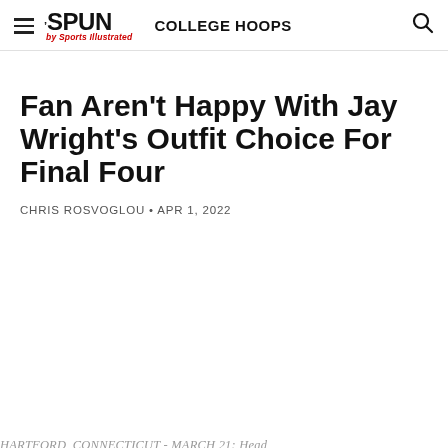THE SPUN by Sports Illustrated  COLLEGE HOOPS
Fan Aren't Happy With Jay Wright's Outfit Choice For Final Four
CHRIS ROSVOGLOU • APR 1, 2022
HARTFORD, CONNECTICUT - MARCH 21: Head